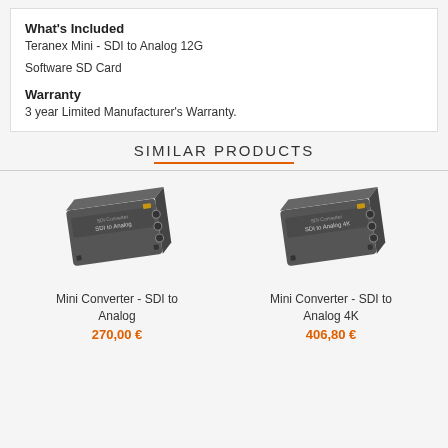What's Included
Teranex Mini - SDI to Analog 12G
Software SD Card
Warranty
3 year Limited Manufacturer's Warranty.
SIMILAR PRODUCTS
[Figure (photo): Blackmagic Mini Converter - SDI to Analog device, dark grey metal box with connectors]
Mini Converter - SDI to Analog
270,00 €
[Figure (photo): Blackmagic Mini Converter - SDI to Analog 4K device, dark grey metal box with connectors]
Mini Converter - SDI to Analog 4K
406,80 €